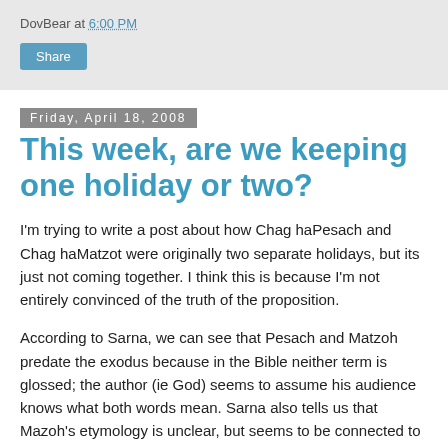DovBear at 6:00 PM
Share
Friday, April 18, 2008
This week, are we keeping one holiday or two?
I'm trying to write a post about how Chag haPesach and Chag haMatzot were originally two separate holidays, but its just not coming together. I think this is because I'm not entirely convinced of the truth of the proposition.
According to Sarna, we can see that Pesach and Matzoh predate the exodus because in the Bible neither term is glossed; the author (ie God) seems to assume his audience knows what both words mean. Sarna also tells us that Mazoh's etymology is unclear, but seems to be connected to barley, the grain that blossomed in Israel during the month of Nisan. He suggests Pesach was first a shepherd's holidays